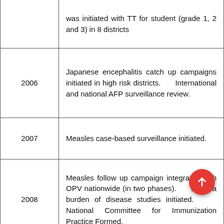| Year | Event |
| --- | --- |
|  | was initiated with TT for student (grade 1, 2 and 3) in 8 districts |
| 2006 | Japanese encephalitis catch up campaigns initiated in high risk districts.      International and national AFP surveillance review. |
| 2007 | Measles case-based surveillance initiated. |
| 2008 | Measles follow up campaign integrated with OPV nationwide (in two phases).      Rubella burden of disease studies initiated.      National Committee for Immunization Practice Formed. |
|  | Hib vaccine included in the routine immunization schedule.      JE vaccine inc in the routine immunization schedule in 17 districts that completed catch up campaigns |